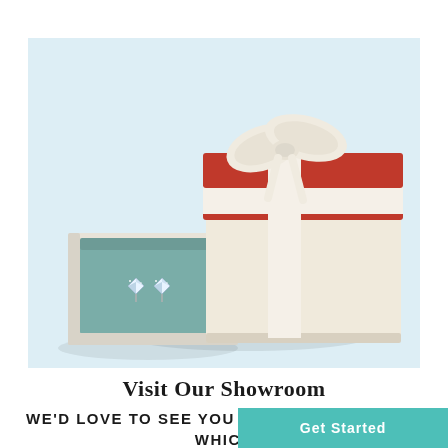[Figure (photo): A jewelry gift box with a red lid and cream/ivory body tied with a cream satin ribbon and bow, shown open with diamond stud earrings displayed on a teal/sage velvet insert tray, against a light blue-white background.]
Visit Our Showroom
WE'D LOVE TO SEE YOU AT OUR SHOWROOM, WHICH IS LOCATED IN HA
Get Started